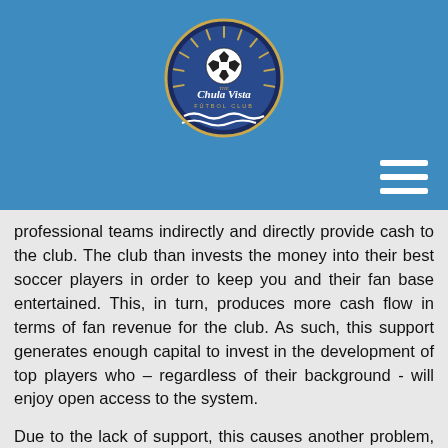[Figure (logo): Chula Vista Futbol Club circular logo with soccer ball, sun rays in gold/dark blue, and wave design at bottom]
professional teams indirectly and directly provide cash to the club. The club than invests the money into their best soccer players in order to keep you and their fan base entertained. This, in turn, produces more cash flow in terms of fan revenue for the club. As such, this support generates enough capital to invest in the development of top players who – regardless of their background - will enjoy open access to the system.
Due to the lack of support, this causes another problem, namely that there are not enough professional divisions with fully-funded youth programs where the best players play for